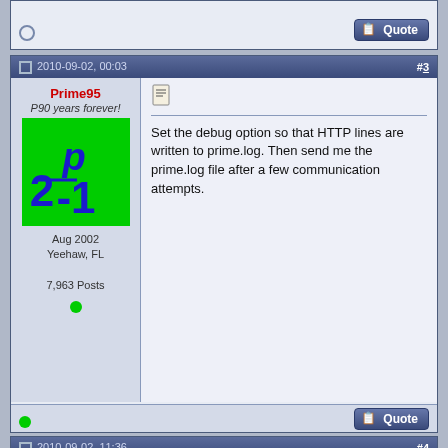[Figure (screenshot): Top portion of a forum post: offline status circle and Quote button visible]
2010-09-02, 00:03  #3
Prime95
P90 years forever!
[Figure (illustration): Green avatar with blue text showing 2^p-1]
Aug 2002
Yeehaw, FL

7,963 Posts
[Figure (screenshot): Notepad/message icon]
Set the debug option so that HTTP lines are written to prime.log. Then send me the prime.log file after a few communication attempts.
2010-09-02, 11:36  #4
TheJudger
[Figure (photo): Photo of a brown dog]
Hi,

the problem went away when the mprime software connected to the primenet server automatically to sent new expected